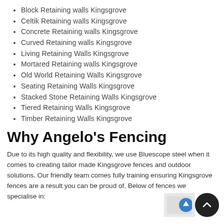Block Retaining walls Kingsgrove
Celtik Retaining walls Kingsgrove
Concrete Retaining walls Kingsgrove
Curved Retaining walls Kingsgrove
Living Retaining Walls Kingsgrove
Mortared Retaining walls Kingsgrove
Old World Retaining Walls Kingsgrove
Seating Retaining Walls Kingsgrove
Stacked Stone Retaining Walls Kingsgrove
Tiered Retaining Walls Kingsgrove
Timber Retaining Walls Kingsgrove
Why Angelo’s Fencing
Due to its high quality and flexibility, we use Bluescope steel when it comes to creating tailor made Kingsgrove fences and outdoor solutions. Our friendly team comes fully training ensuring Kingsgrove fences are a result you can be proud of. Below of fences we specialise in: